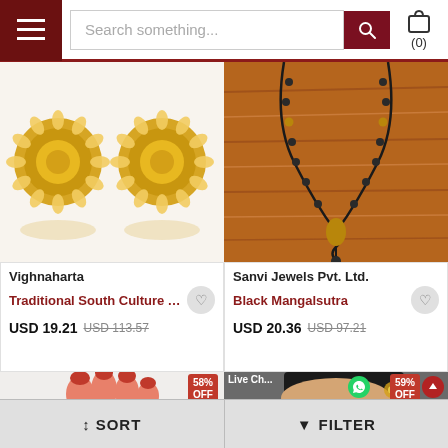Search something...
[Figure (photo): Two gold circular ornate earrings with floral pattern on white background]
Vighnaharta
Traditional South Culture Allo...
USD 19.21  USD 113.57
[Figure (photo): Black mangalsutra necklace on wooden background]
Sanvi Jewels Pvt. Ltd.
Black Mangalsutra
USD 20.36  USD 97.21
[Figure (photo): Red-nailed hand holding item, with 58% OFF badge]
[Figure (photo): Woman wearing ornate earrings, with 59% OFF badge and WhatsApp icon]